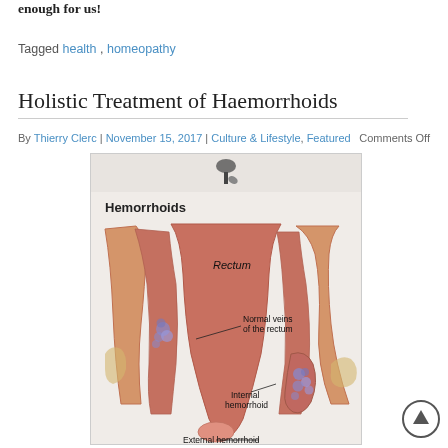enough for us!
Tagged health, homeopathy
Holistic Treatment of Haemorrhoids
By Thierry Clerc | November 15, 2017 | Culture & Lifestyle, Featured    Comments Off
[Figure (illustration): Medical illustration of hemorrhoids showing a cross-section of the rectum with labels: Rectum, Normal veins of the rectum, Internal hemorrhoid, External hemorrhoid. A pushpin icon appears at the top of the image.]